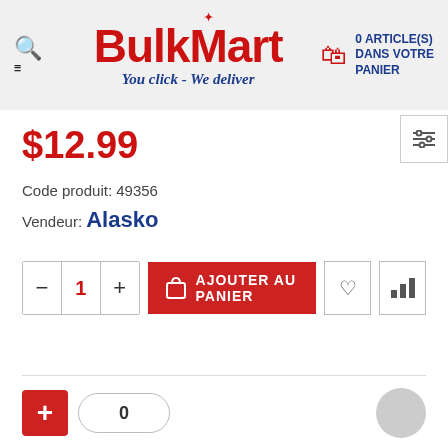[Figure (logo): BulkMart logo with red text, maple leaf, tagline 'You click - We deliver', search and menu icons on left, shopping cart with '0 ARTICLE(S) DANS VOTRE PANIER' on right]
$12.99
Code produit: 49356
Vendeur: Alasko
[Figure (screenshot): Add to cart interface: quantity selector with minus/1/plus, red AJOUTER AU PANIER button, heart icon button, bar chart icon button]
[Figure (screenshot): Bottom row: red plus button, zero input box, gray circle element]